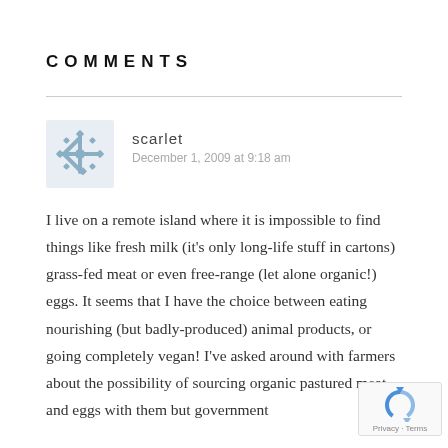COMMENTS
scarlet
December 1, 2009 at 9:18 am
I live on a remote island where it is impossible to find things like fresh milk (it's only long-life stuff in cartons) grass-fed meat or even free-range (let alone organic!) eggs. It seems that I have the choice between eating nourishing (but badly-produced) animal products, or going completely vegan! I've asked around with farmers about the possibility of sourcing organic pastured meat and eggs with them but government